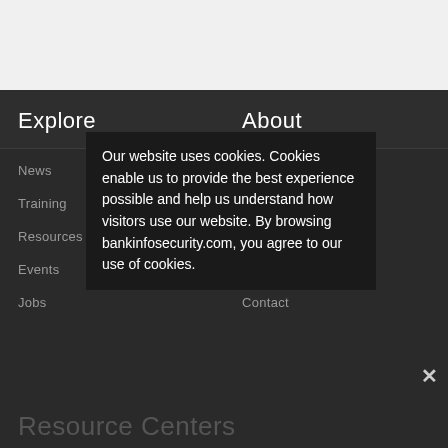Explore
About
News
Training
Resources
Events
Jobs
Editorial
Board of Advisers
Press
Advertise
Contact
Our website uses cookies. Cookies enable us to provide the best experience possible and help us understand how visitors use our website. By browsing bankinfosecurity.com, you agree to our use of cookies.
Resource Centers